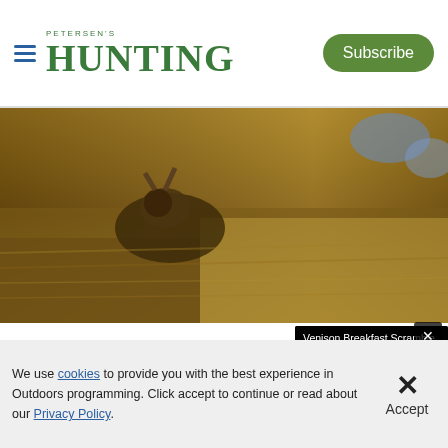PETERSEN'S HUNTING | Subscribe
[Figure (photo): Wildlife photo showing a deer or similar animal partially hidden in dry grass and brush, outdoor hunting scene]
The Only Th... Hunting
Craig Bodding...
[Figure (screenshot): Video player showing 'Venison Breakfast Scramble Recipe' with a bowl of scrambled eggs and venison, video controls showing 00:00 / 05:55]
We use cookies to provide you with the best experience in Outdoors programming. Click accept to continue or read about our Privacy Policy.